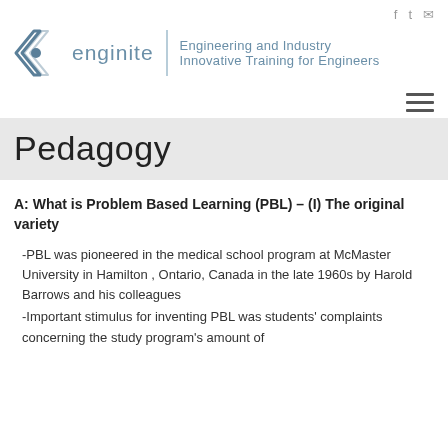[Figure (logo): Enginite logo with angular bracket icon and text: 'enginite | Engineering and Industry Innovative Training for Engineers']
Pedagogy
A: What is Problem Based Learning (PBL) – (I) The original variety
-PBL was pioneered in the medical school program at McMaster University in Hamilton , Ontario, Canada in the late 1960s by Harold Barrows and his colleagues
-Important stimulus for inventing PBL was students' complaints concerning the study program's amount of